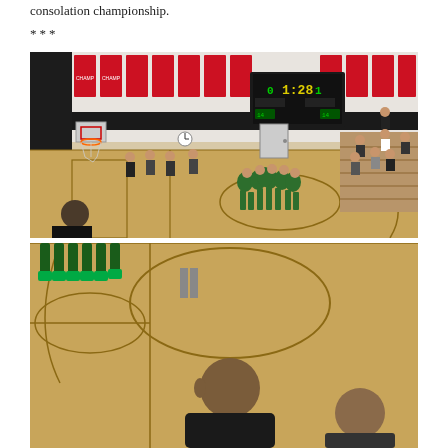consolation championship.
***
[Figure (photo): Indoor basketball gymnasium with a team of players in green uniforms huddled together at center court. The scoreboard shows 1:28. Red championship banners hang along the top walls. Spectators sit in wooden bleachers. A man in black is visible in the foreground lower left.]
[Figure (photo): Basketball court view from ground level showing players' legs/feet in a line on the left, and a man seated in the foreground lower center-right. The hardwood court with painted lines is visible.]